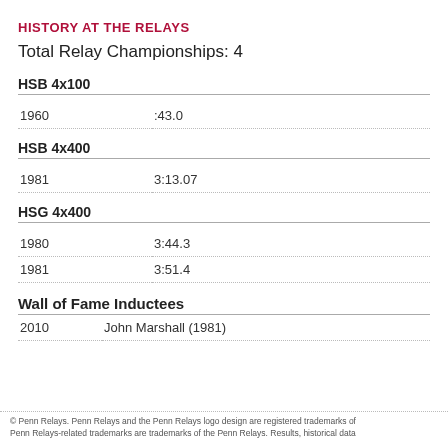HISTORY AT THE RELAYS
Total Relay Championships: 4
HSB 4x100
| Year | Time |
| --- | --- |
| 1960 | :43.0 |
HSB 4x400
| Year | Time |
| --- | --- |
| 1981 | 3:13.07 |
HSG 4x400
| Year | Time |
| --- | --- |
| 1980 | 3:44.3 |
| 1981 | 3:51.4 |
Wall of Fame Inductees
| Year | Name |
| --- | --- |
| 2010 | John Marshall (1981) |
© Penn Relays. Penn Relays and the Penn Relays logo design are registered trademarks of Penn Relays-related trademarks are trademarks of the Penn Relays. Results, historical data